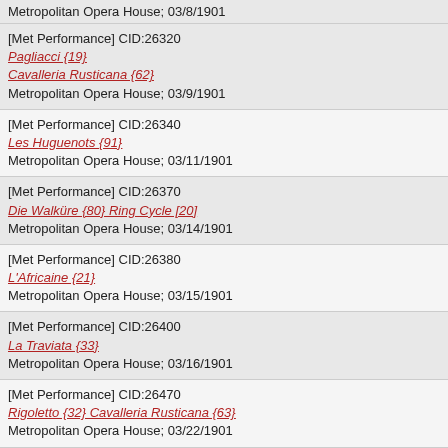Metropolitan Opera House; 03/8/1901
[Met Performance] CID:26320
Pagliacci {19}
Cavalleria Rusticana {62}
Metropolitan Opera House; 03/9/1901
[Met Performance] CID:26340
Les Huguenots {91}
Metropolitan Opera House; 03/11/1901
[Met Performance] CID:26370
Die Walküre {80} Ring Cycle [20]
Metropolitan Opera House; 03/14/1901
[Met Performance] CID:26380
L'Africaine {21}
Metropolitan Opera House; 03/15/1901
[Met Performance] CID:26400
La Traviata {33}
Metropolitan Opera House; 03/16/1901
[Met Performance] CID:26470
Rigoletto {32} Cavalleria Rusticana {63}
Metropolitan Opera House; 03/22/1901
[Met Performance] CID:26490
Faust {181}
Metropolitan Opera House; 03/23/1901
[Met Performance] CID:26540
Faust {182}
Metropolitan Opera House; 03/28/1901
[Met Performance] CID:26570
Carmen {142}